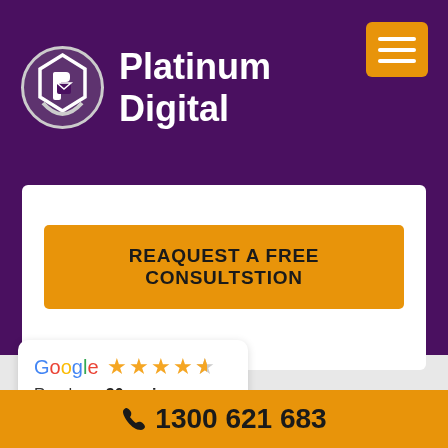[Figure (logo): Platinum Digital logo with circular icon and white text on purple header background]
Platinum Digital
REAQUEST A FREE CONSULTSTION
[Figure (other): Google review widget showing 4.5 stars and 30 reviews]
Read our 30 reviews
1300 621 683